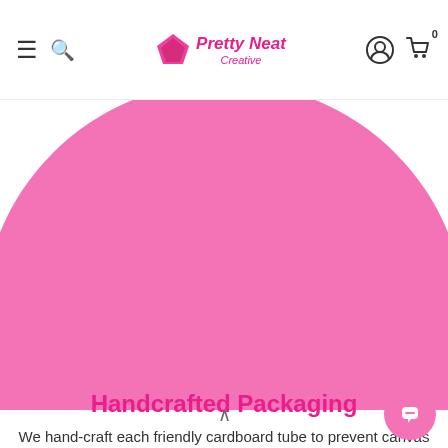Pretty Neat Creative — navigation header with hamburger menu, search, account, and cart icons
[Figure (photo): Diamond painting kit contents laid out on a pink gridded mat inside a large pink circle: cardboard tubes, instruction sheets, tools (tweezers, applicator pen), glue pad, diamond bead packets in multiple colors (green, red, blue), and a small booklet.]
Handcrafted Packaging
We hand-craft each friendly cardboard tube to prevent canvas creases, wrinkles, and breakage!